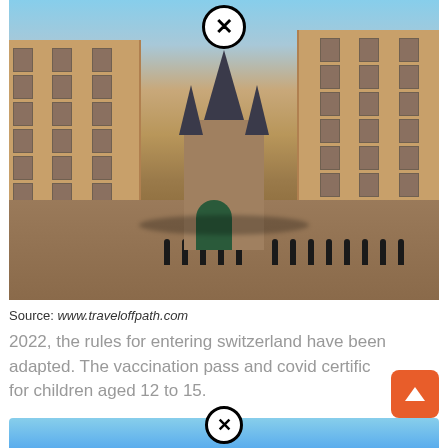[Figure (photo): Photograph of a medieval gate tower (Porte Cailhau) in Bordeaux, France, viewed from a cobblestone plaza with surrounding stone Haussmann-style buildings on both sides and a row of bollards in the foreground. A close/X button overlay appears at the top center.]
Source: www.traveloffpath.com
2022, the rules for entering switzerland have been adapted. The vaccination pass and covid certific for children aged 12 to 15.
[Figure (photo): Partial view of a second image (sky/water scene) at the bottom of the page with a close/X button overlay at top center.]